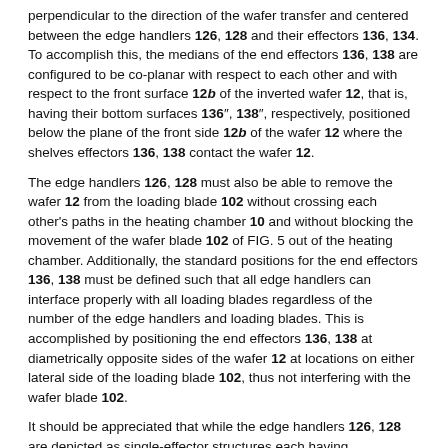perpendicular to the direction of the wafer transfer and centered between the edge handlers 126, 128 and their effectors 136, 134. To accomplish this, the medians of the end effectors 136, 138 are configured to be co-planar with respect to each other and with respect to the front surface 12b of the inverted wafer 12, that is, having their bottom surfaces 136″, 138″, respectively, positioned below the plane of the front side 12b of the wafer 12 where the shelves effectors 136, 138 contact the wafer 12.
The edge handlers 126, 128 must also be able to remove the wafer 12 from the loading blade 102 without crossing each other's paths in the heating chamber 10 and without blocking the movement of the wafer blade 102 of FIG. 5 out of the heating chamber. Additionally, the standard positions for the end effectors 136, 138 must be defined such that all edge handlers can interface properly with all loading blades regardless of the number of the edge handlers and loading blades. This is accomplished by positioning the end effectors 136, 138 at diametrically opposite sides of the wafer 12 at locations on either lateral side of the loading blade 102, thus not interfering with the wafer blade 102.
It should be appreciated that while the edge handlers 126, 128 are depicted as single-effector structures each having attachments for only one positioning effector 136, 138, respectively, and each supporting only one wafer 12 at a time, a multi-shelf configuration (not shown) is also available, where each wafer handler has an attachment for two or more end effectors